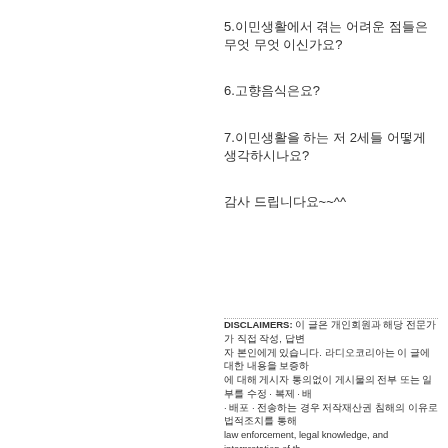5.이민생활에서 겪는 어려운 점들은 무엇 무엇 이신가요?
6.고향음식은요?
7.이민생활을 하는 저 2세들 어떻게 생각하시나요?
감사 드립니다요~~^^
DISCLAIMERS: 이 글은 개인회원과 해당 전문가가 직접 작성, 답변 자 본인에게 있습니다. 라디오코리아는 이 글에 대한 내용을 보증하 에 대해 게시자 통의없이 게시물의 전부 또는 일부를 수정 · 복제 · 배포 · 전송하는 경우 저작재산권 침해의 이유로 법적조치를 통해 law enforcement, legal knowledge, and interpretation of th
No responsibility is assumed for Radio Korea in the result and make his other finaljudgment. In principle, all posts without the consent of the publisher,